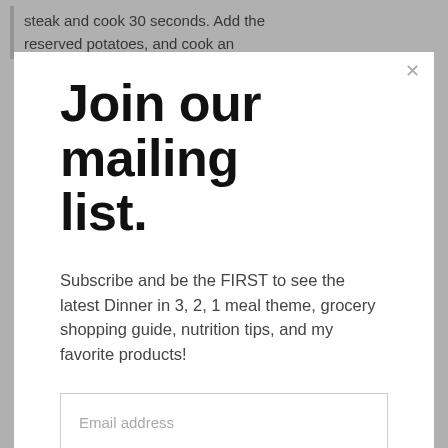steak and cook 30 seconds. Add the reserved potatoes, and cook an
Join our mailing list.
Subscribe and be the FIRST to see the latest Dinner in 3, 2, 1 meal theme, grocery shopping guide, nutrition tips, and my favorite products!
Email address
Subscribe
Recipe Rating